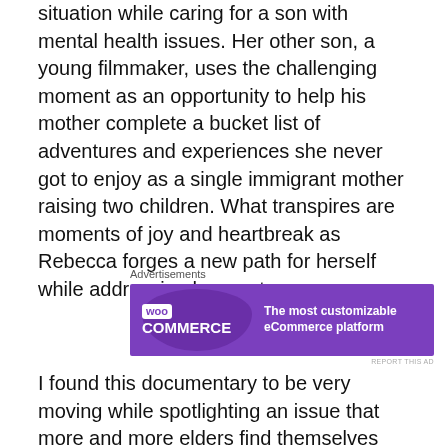situation while caring for a son with mental health issues. Her other son, a young filmmaker, uses the challenging moment as an opportunity to help his mother complete a bucket list of adventures and experiences she never got to enjoy as a single immigrant mother raising two children. What transpires are moments of joy and heartbreak as Rebecca forges a new path for herself while addressing her past.
[Figure (other): WooCommerce advertisement banner: purple background with WooCommerce logo on the left and text 'The most customizable eCommerce platform' on the right.]
I found this documentary to be very moving while spotlighting an issue that more and more elders find themselves facing. Retirement is becoming less of a certainty as rising economic insecurity means more and more older people will continue to work their entire lives.